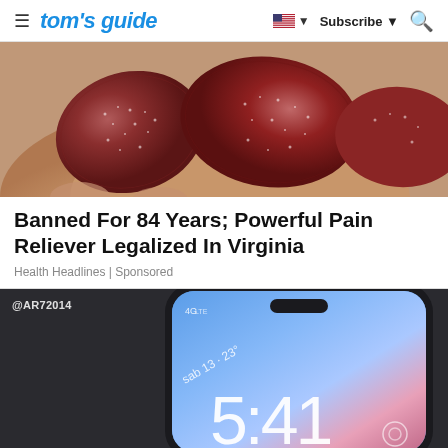≡  tom's guide   🇺🇸 ▼  Subscribe ▼  🔍
[Figure (photo): A hand holding dark red/maroon gummy candies with sugar crystals on them]
Banned For 84 Years; Powerful Pain Reliever Legalized In Virginia
Health Headlines | Sponsored
[Figure (photo): A smartphone with a blue/pink gradient lock screen showing time 5:41 and date sab 13 · 23°, with @AR72014 watermark in top left corner]